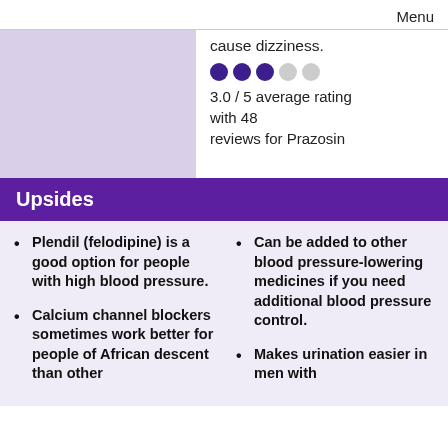Menu
cause dizziness.
[Figure (infographic): 5 circles rating indicator: 3 filled dark purple, 2 empty grey]
3.0 / 5 average rating with 48 reviews for Prazosin
Upsides
Plendil (felodipine) is a good option for people with high blood pressure.
Calcium channel blockers sometimes work better for people of African descent than other
Can be added to other blood pressure-lowering medicines if you need additional blood pressure control.
Makes urination easier in men with